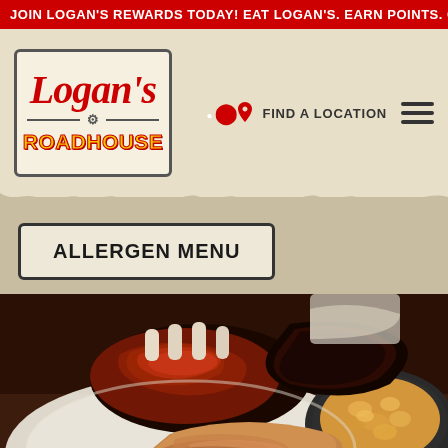JOIN LOGAN'S REWARDS TODAY! EAT LOGAN'S. EARN POINTS. GET
[Figure (logo): Logan's Roadhouse logo — red cursive 'Logan's' over black divider line and bold yellow 'ROADHOUSE' text, in a rectangular border box]
FIND A LOCATION
ALLERGEN MENU
[Figure (photo): Close-up photo of barbecue food platter with glazed ribs, pulled pork, smoked sausage, mac and cheese, and a small bowl of BBQ sauce on the side]